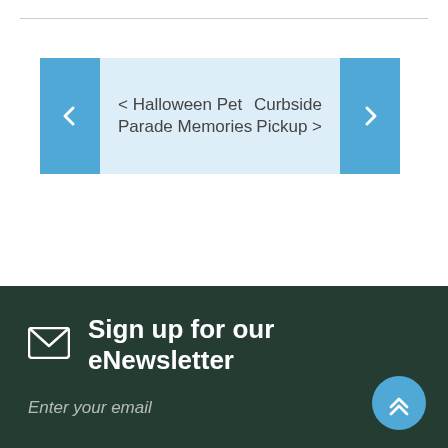[Figure (other): Navigation bar with left and right arrow buttons in blue, center area in light blue showing '< Halloween Pet Parade Memories' on left and 'Curbside Pickup >' on right]
[Figure (other): Dark green footer section with envelope icon, 'Sign up for our eNewsletter' heading, 'Enter your email' placeholder text, and a blue circular scroll-to-top button with double chevron up arrow]